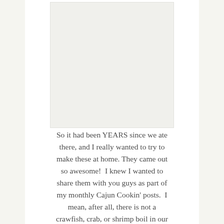[Figure (photo): Photo placeholder area at top of page, appears blank or white]
So it had been YEARS since we ate there, and I really wanted to try to make these at home. They came out so awesome!  I knew I wanted to share them with you guys as part of my monthly Cajun Cookin' posts.  I mean, after all, there is not a crawfish, crab, or shrimp boil in our state that doesn't have the corn and potatoes with it.  These Red Hots are the same flavors you find in the